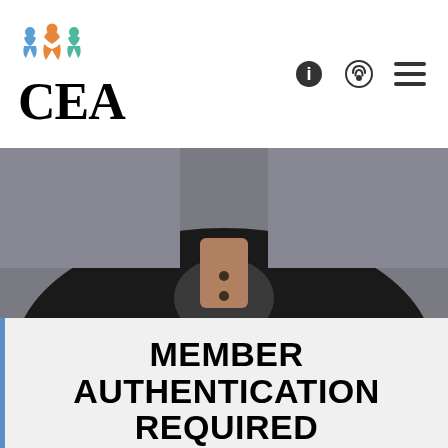[Figure (logo): CEA organization logo with colorful figure icon above stylized 'CEA' text in large serif font]
[Figure (photo): Cropped photo of a person wearing a dark jacket, shown from chest up, dark background]
MEMBER AUTHENTICATION REQUIRED
Please enter your CEA Membership ID below.